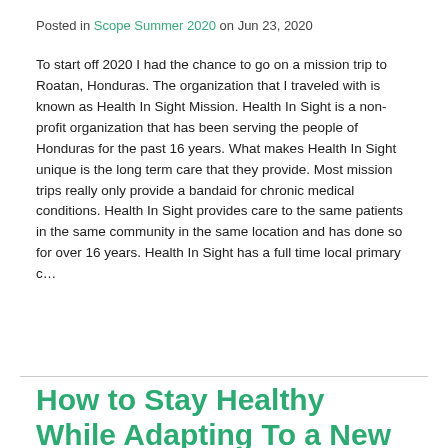Posted in Scope Summer 2020 on Jun 23, 2020
To start off 2020 I had the chance to go on a mission trip to Roatan, Honduras. The organization that I traveled with is known as Health In Sight Mission. Health In Sight is a non-profit organization that has been serving the people of Honduras for the past 16 years. What makes Health In Sight unique is the long term care that they provide. Most mission trips really only provide a bandaid for chronic medical conditions. Health In Sight provides care to the same patients in the same community in the same location and has done so for over 16 years. Health In Sight has a full time local primary c...
How to Stay Healthy While Adapting To a New Normal